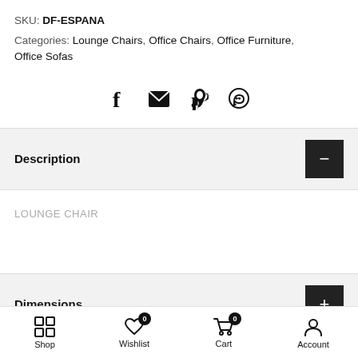SKU: DF-ESPANA
Categories: Lounge Chairs, Office Chairs, Office Furniture, Office Sofas
[Figure (infographic): Row of four social share icons: Facebook (f), Email (envelope), Pinterest (p), WhatsApp (speech bubble with phone)]
Description
LOUNGE CHAIR
Dimensions
Shop  Wishlist 0  Cart 0  Account